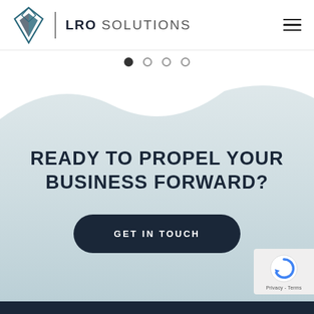[Figure (logo): LRO Solutions logo with diamond/crystal geometric icon in teal and dark navy, vertical divider, and bold text LRO SOLUTIONS]
[Figure (infographic): Four pagination dots: first filled/dark, three empty circles]
[Figure (illustration): Light teal/grey wave shape forming a curved background for the lower CTA section]
READY TO PROPEL YOUR BUSINESS FORWARD?
GET IN TOUCH
[Figure (other): Google reCAPTCHA badge with spinning arrow icon and Privacy - Terms text]